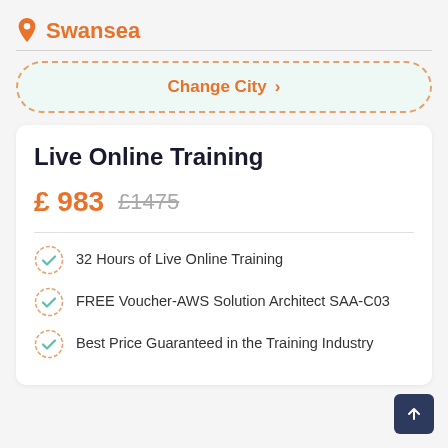Swansea
Change City >
Live Online Training
£ 983  £1475
32 Hours of Live Online Training
FREE Voucher-AWS Solution Architect SAA-C03
Best Price Guaranteed in the Training Industry